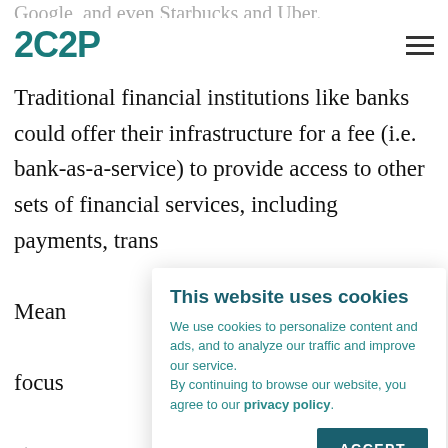Google, and even Starbucks and Uber.
[Figure (logo): 2C2P company logo in teal/dark cyan color]
Traditional financial institutions like banks could offer their infrastructure for a fee (i.e. bank-as-a-service) to provide access to other sets of financial services, including payments, trans[actions...] Mean[while...] focus[ing on...] strea[mlining...] omni[channel...]
This website uses cookies
We use cookies to personalize content and ads, and to analyze our traffic and improve our service.
By continuing to browse our website, you agree to our privacy policy.